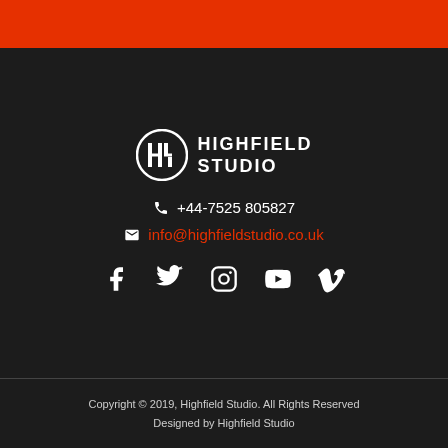[Figure (logo): Highfield Studio logo with circular icon and text HIGHFIELD STUDIO]
+44-7525 805827
info@highfieldstudio.co.uk
[Figure (illustration): Social media icons: Facebook, Twitter, Instagram, YouTube, Vimeo]
Copyright © 2019, Highfield Studio. All Rights Reserved
Designed by Highfield Studio